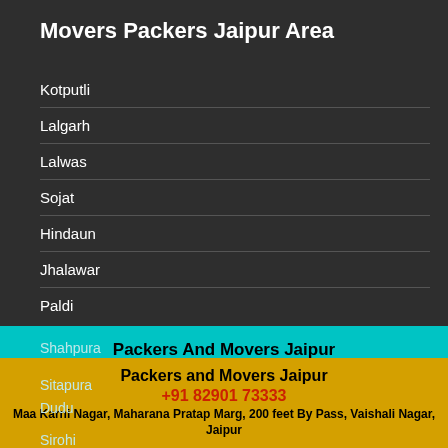Movers Packers Jaipur Area
Kotputli
Lalgarh
Lalwas
Sojat
Hindaun
Jhalawar
Paldi
Shahpura
Sitapura
Dudu
Sirohi
Packers And Movers Jaipur
+91 82901 73333
Sundar Nagar, Maharana Pratap Marg, Rangoli Garden Road, 200 ft Bye Pass, Jaipur
Packers and Movers Jaipur
+91 82901 73333
Maa Karni Nagar, Maharana Pratap Marg, 200 feet By Pass, Vaishali Nagar, Jaipur